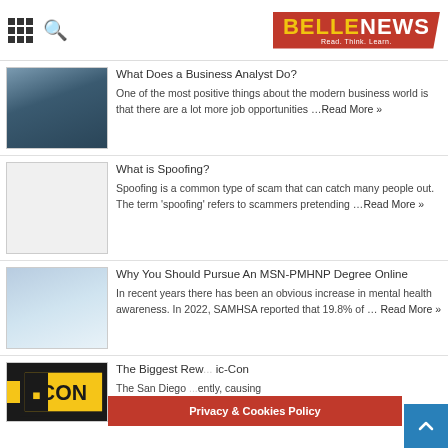BELLE NEWS — Read. Think. Learn.
What Does a Business Analyst Do?
One of the most positive things about the modern business world is that there are a lot more job opportunities …Read More »
[Figure (photo): Person working at a desk with multiple monitors showing data/charts]
What is Spoofing?
Spoofing is a common type of scam that can catch many people out. The term 'spoofing' refers to scammers pretending …Read More »
Why You Should Pursue An MSN-PMHNP Degree Online
In recent years there has been an obvious increase in mental health awareness. In 2022, SAMHSA reported that 19.8% of … Read More »
[Figure (photo): Group of nurses/medical professionals smiling]
The Biggest Rew... ic-Con
The San Diego ... ently, causing
[Figure (logo): Comic-Con logo in yellow on black background]
Privacy & Cookies Policy